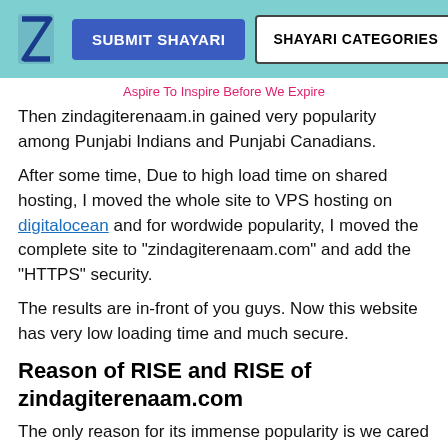SUBMIT SHAYARI | SHAYARI CATEGORIES
Aspire To Inspire Before We Expire
Then zindagiterenaam.in gained very popularity among Punjabi Indians and Punjabi Canadians.
After some time, Due to high load time on shared hosting, I moved the whole site to VPS hosting on digitalocean and for wordwide popularity, I moved the complete site to “zindagiterenaam.com” and add the “HTTPS” security.
The results are in-front of you guys. Now this website has very low loading time and much secure.
Reason of RISE and RISE of zindagiterenaam.com
The only reason for its immense popularity is we cared about what people want. In these days, Young people are